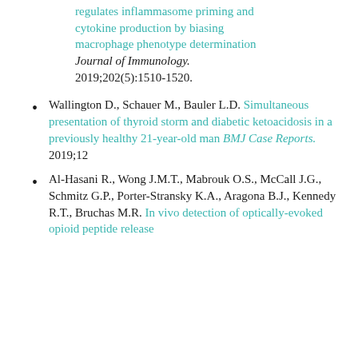regulates inflammasome priming and cytokine production by biasing macrophage phenotype determination Journal of Immunology. 2019;202(5):1510-1520.
Wallington D., Schauer M., Bauler L.D. Simultaneous presentation of thyroid storm and diabetic ketoacidosis in a previously healthy 21-year-old man BMJ Case Reports. 2019;12
Al-Hasani R., Wong J.M.T., Mabrouk O.S., McCall J.G., Schmitz G.P., Porter-Stransky K.A., Aragona B.J., Kennedy R.T., Bruchas M.R. In vivo detection of optically-evoked opioid peptide release